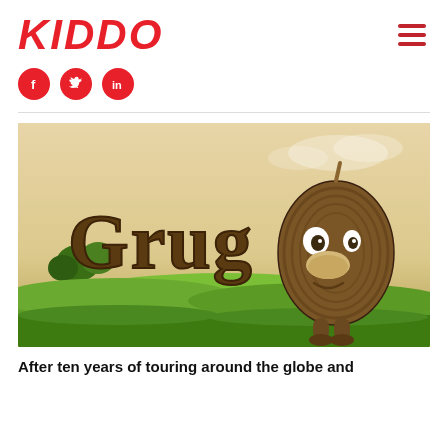KIDDO
[Figure (logo): KIDDO logo in red italic bold text, with hamburger menu icon on the right]
[Figure (illustration): Three red circular social media buttons: Facebook, Twitter, LinkedIn]
[Figure (photo): Promotional image for Grug animated character - a mushroom-shaped creature with big nose standing in a green field, with the word 'Grug' in wooden-textured letters]
After ten years of touring around the globe and